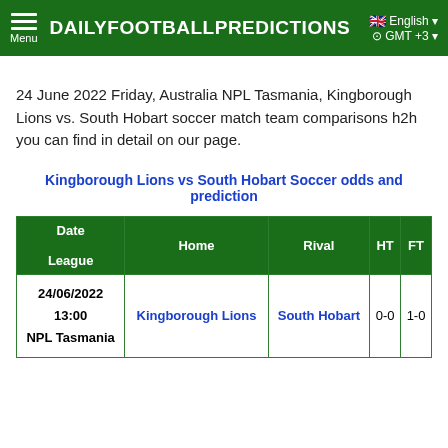DAILYFOOTBALLPREDICTIONS | English | GMT +3
24 June 2022 Friday, Australia NPL Tasmania, Kingborough Lions vs. South Hobart soccer match team comparisons h2h you can find in detail on our page.
Kingborough Lions vs South Hobart Soccer odds and prediction
| Date
League | Home | Rival | HT | FT |
| --- | --- | --- | --- | --- |
| 24/06/2022
13:00
NPL Tasmania | Kingborough Lions | South Hobart | 0-0 | 1-0 |